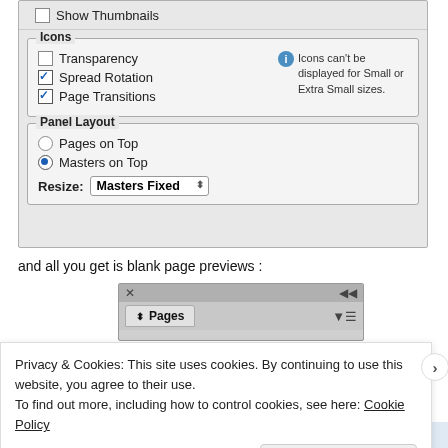[Figure (screenshot): Settings dialog screenshot showing checkboxes for Show Thumbnails, Icons group (Transparency unchecked, Spread Rotation checked, Page Transitions checked) with info note about icons not displayable for Small or Extra Small sizes, and Panel Layout group with radio buttons (Pages on Top unchecked, Masters on Top checked) and Resize dropdown set to Masters Fixed.]
and all you get is blank page previews :
[Figure (screenshot): Pages panel showing x close button, arrow icon, Pages tab with menu icon on grey background.]
Privacy & Cookies: This site uses cookies. By continuing to use this website, you agree to their use.
To find out more, including how to control cookies, see here: Cookie Policy
Close and accept
Follow ...